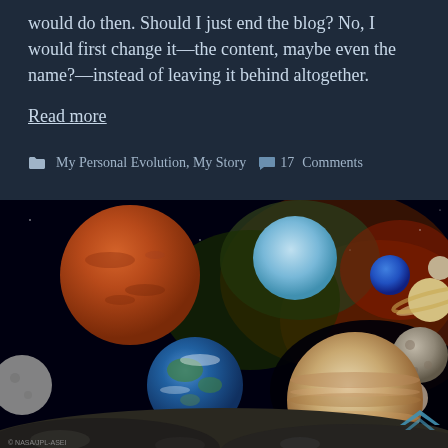would do then. Should I just end the blog? No, I would first change it—the content, maybe even the name?—instead of leaving it behind altogether.
Read more
My Personal Evolution, My Story  17 Comments
[Figure (photo): NASA/JPL composite image of planets and moons of the solar system arranged against a dark space background with nebula colors, showing Mars, Saturn, Uranus, Earth, Jupiter, and various moons.]